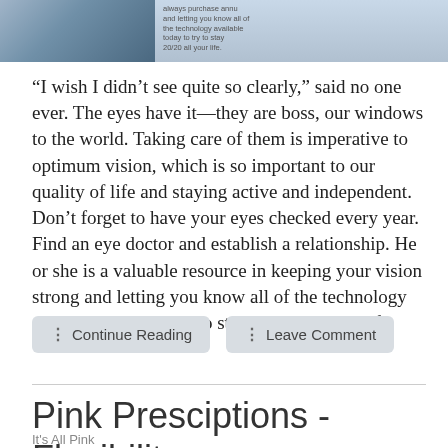[Figure (photo): Partial image of a person holding a blue object, with a text overlay box on the right side]
“I wish I didn’t see quite so clearly,” said no one ever. The eyes have it—they are boss, our windows to the world. Taking care of them is imperative to optimum vision, which is so important to our quality of life and staying active and independent. Don’t forget to have your eyes checked every year. Find an eye doctor and establish a relationship. He or she is a valuable resource in keeping your vision strong and letting you know all of the technology available today to try to stay 20/20 all your life.
Continue Reading
Leave Comment
Pink Presciptions - Flexibility
It's All Pink